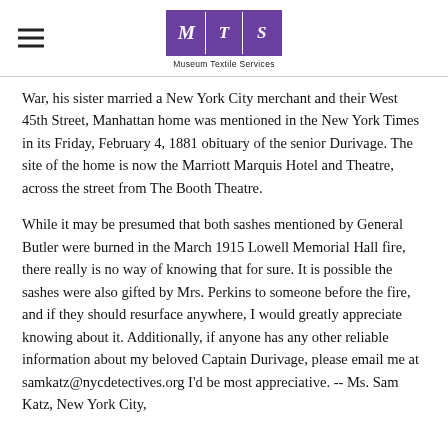Museum Textile Services
War, his sister married a New York City merchant and their West 45th Street, Manhattan home was mentioned in the New York Times in its Friday, February 4, 1881 obituary of the senior Durivage. The site of the home is now the Marriott Marquis Hotel and Theatre, across the street from The Booth Theatre.
While it may be presumed that both sashes mentioned by General Butler were burned in the March 1915 Lowell Memorial Hall fire, there really is no way of knowing that for sure. It is possible the sashes were also gifted by Mrs. Perkins to someone before the fire, and if they should resurface anywhere, I would greatly appreciate knowing about it. Additionally, if anyone has any other reliable information about my beloved Captain Durivage, please email me at samkatz@nycdetectives.org I'd be most appreciative. -- Ms. Sam Katz, New York City,